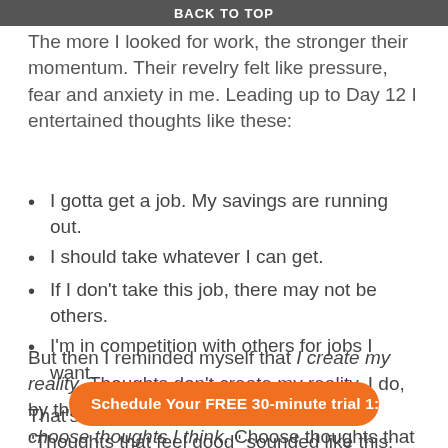BACK TO TOP
My old stories reveled in my then what was. The more I looked for work, the stronger their momentum. Their revelry felt like pressure, fear and anxiety in me. Leading up to Day 12 I entertained thoughts like these:
I gotta get a job. My savings are running out.
I should take whatever I can get.
If I don't take this job, there may not be others.
I'm in competition with others for jobs I want.
But then I reminded myself that I create my reality. Thoughts don't create my reality. I do, by thinking thoughts. That means I can choose thoughts I think. Choose thoughts that feel good and I know by my good feelings, realities consistent with what my Inner Being has in store for me will become my reality.
That's what “Thoughts that feel good” sounded like this:
[Figure (other): Orange pill-shaped button with white bold text: Schedule Your FREE 30-minute trial 1:1]